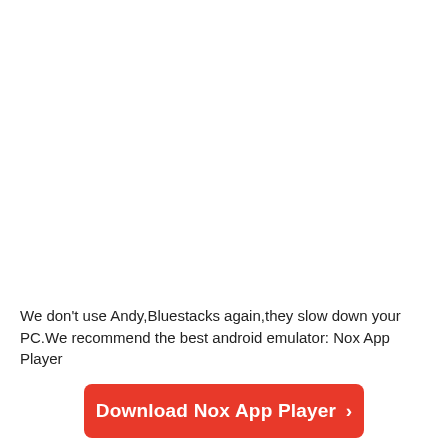We don't use Andy,Bluestacks again,they slow down your PC.We recommend the best android emulator: Nox App Player
[Figure (other): Red rounded rectangle button with white text reading 'Download Nox App Player ›']